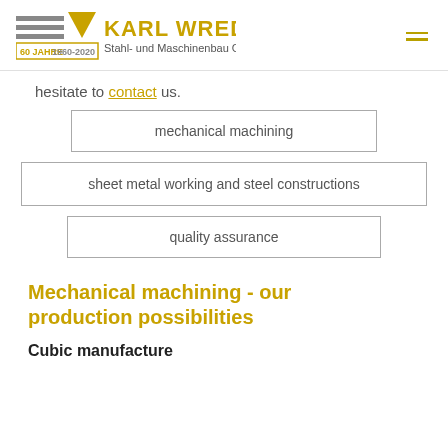KARL WREDE Stahl- und Maschinenbau GmbH — 60 JAHRE 1960-2020
hesitate to contact us.
mechanical machining
sheet metal working and steel constructions
quality assurance
Mechanical machining - our production possibilities
Cubic manufacture